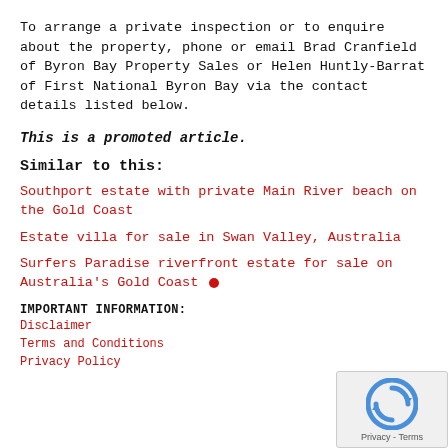To arrange a private inspection or to enquire about the property, phone or email Brad Cranfield of Byron Bay Property Sales or Helen Huntly-Barrat of First National Byron Bay via the contact details listed below.
This is a promoted article.
Similar to this:
Southport estate with private Main River beach on the Gold Coast
Estate villa for sale in Swan Valley, Australia
Surfers Paradise riverfront estate for sale on Australia's Gold Coast •
IMPORTANT INFORMATION:
Disclaimer
Terms and Conditions
Privacy Policy
[Figure (logo): reCAPTCHA badge with Privacy - Terms text]